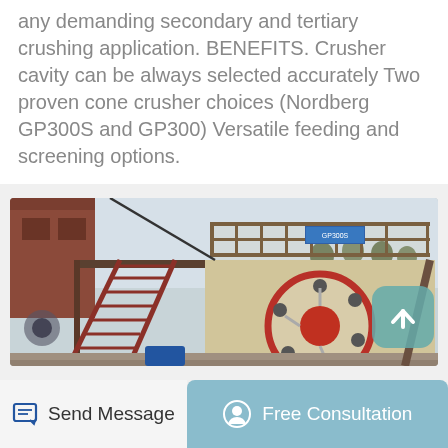any demanding secondary and tertiary crushing application. BENEFITS. Crusher cavity can be always selected accurately Two proven cone crusher choices (Nordberg GP300S and GP300) Versatile feeding and screening options.
[Figure (photo): Photograph of an industrial jaw crusher plant with steel frame structure, metal staircase on the left side, a large circular flywheel in cream/red color on the right, and a blue sign on an elevated platform.]
Send Message   Free Consultation